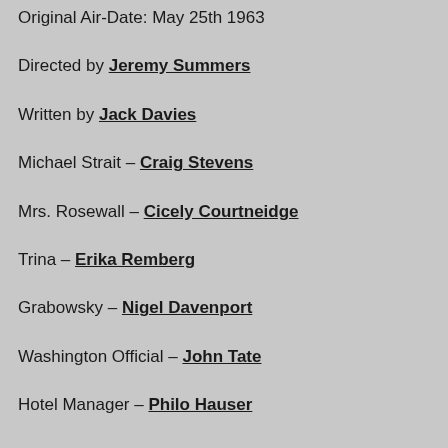Original Air-Date: May 25th 1963
Directed by Jeremy Summers
Written by Jack Davies
Michael Strait – Craig Stevens
Mrs. Rosewall – Cicely Courtneidge
Trina – Erika Remberg
Grabowsky – Nigel Davenport
Washington Official – John Tate
Hotel Manager – Philo Hauser